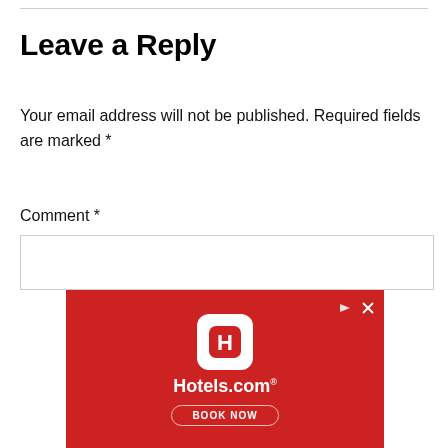Leave a Reply
Your email address will not be published. Required fields are marked *
Comment *
[Figure (other): Hotels.com advertisement banner with red background, Hotels.com logo, brand name, and BOOK NOW button]